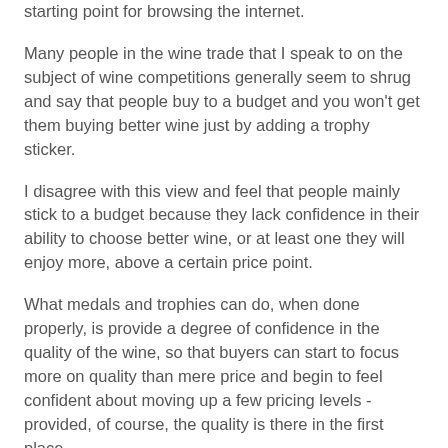starting point for browsing the internet.
Many people in the wine trade that I speak to on the subject of wine competitions generally seem to shrug and say that people buy to a budget and you won't get them buying better wine just by adding a trophy sticker.
I disagree with this view and feel that people mainly stick to a budget because they lack confidence in their ability to choose better wine, or at least one they will enjoy more, above a certain price point.
What medals and trophies can do, when done properly, is provide a degree of confidence in the quality of the wine, so that buyers can start to focus more on quality than mere price and begin to feel confident about moving up a few pricing levels - provided, of course, the quality is there in the first place.
Of the two wines that I liked enough to take home, the first was a Les Caves du Commandeur Rolle from Argens in Provence, just across the border from Italy where it is known as Vermentino.